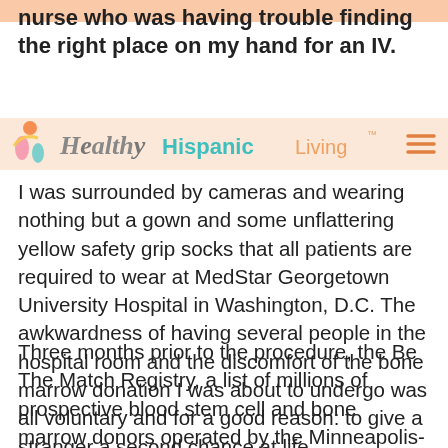nurse who was having trouble finding the right place on my hand for an IV.
[Figure (logo): Healthy Hispanic Living logo with colorful graphic of people and teal/orange text, and hamburger menu icon on right]
I was surrounded by cameras and wearing nothing but a gown and some unflattering yellow safety grip socks that all patients are required to wear at MedStar Georgetown University Hospital in Washington, D.C. The awkwardness of having several people in the hospital room and the discomfort of the bone marrow donation I was about to undergo was all voluntary and for a good reason: to give a stranger a second chance at life.
Three months prior to the procedure, the Be The Match Registry, a list of millions of prospective blood stem cell and bone marrow donors operated by the Minneapolis-based National Marrow Donor Program (NMDP), informed me via email that I was a potential blood stem cell match for a patient. I had been on the registry for nearly a decade and